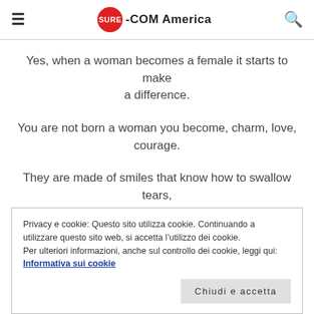SURE-COM America
Yes, when a woman becomes a female it starts to make a difference.
You are not born a woman you become, charm, love, courage.
They are made of smiles that know how to swallow tears,
Privacy e cookie: Questo sito utilizza cookie. Continuando a utilizzare questo sito web, si accetta l’utilizzo dei cookie.
Per ulteriori informazioni, anche sul controllo dei cookie, leggi qui:
Informativa sui cookie
Chiudi e accetta